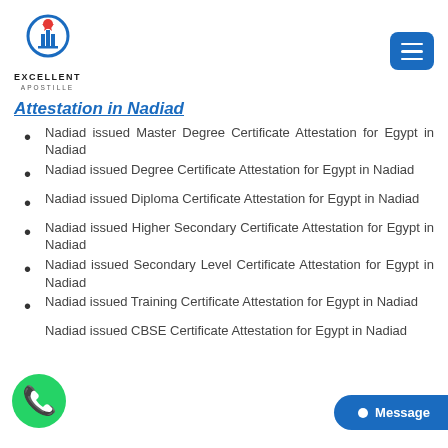Excellent Apostille
Attestation in Nadiad
Nadiad issued Master Degree Certificate Attestation for Egypt in Nadiad
Nadiad issued Degree Certificate Attestation for Egypt in Nadiad
Nadiad issued Diploma Certificate Attestation for Egypt in Nadiad
Nadiad issued Higher Secondary Certificate Attestation for Egypt in Nadiad
Nadiad issued Secondary Level Certificate Attestation for Egypt in Nadiad
Nadiad issued Training Certificate Attestation for Egypt in Nadiad
Nadiad issued CBSE Certificate Attestation for Egypt in Nadiad